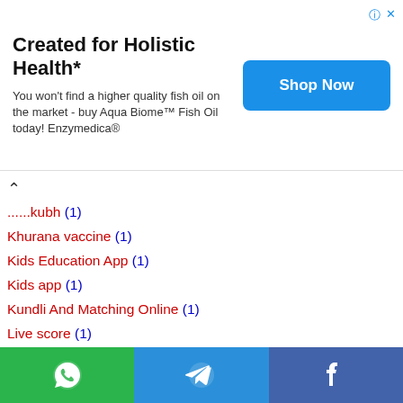[Figure (infographic): Advertisement banner: Created for Holistic Health* with Shop Now button]
...kubh (1)
Khurana vaccine (1)
Kids Education App (1)
Kids app (1)
Kundli And Matching Online (1)
Live score (1)
Lowest Interest Rate of Bike And Car Loan (1)
MA Amrutam yojana Scheme (1)
Mahindra Finance Loan (1)
Make a WhatsApp DP for your name letter (1)
Marjiyat raja list (1)
Mathematics pdf (1)
[Figure (infographic): Footer bar with WhatsApp, Telegram, and Facebook icons]